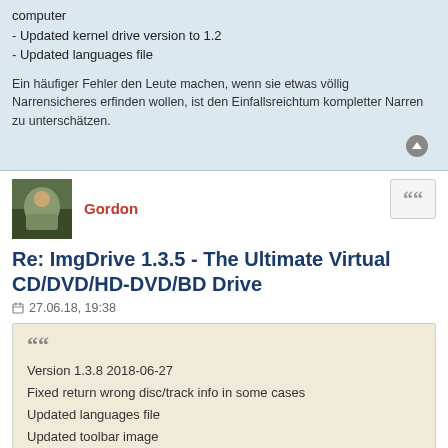computer
- Updated kernel drive version to 1.2
- Updated languages file
Ein häufiger Fehler den Leute machen, wenn sie etwas völlig Narrensicheres erfinden wollen, ist den Einfallsreichtum kompletter Narren zu unterschätzen.
Gordon
Re: ImgDrive 1.3.5 - The Ultimate Virtual CD/DVD/HD-DVD/BD Drive
27.06.18, 19:38
Version 1.3.8 2018-06-27
Fixed return wrong disc/track info in some cases
Updated languages file
Updated toolbar image
We just need your compliance/You will feel no pain anymore/And no more defiance - Muse 2022